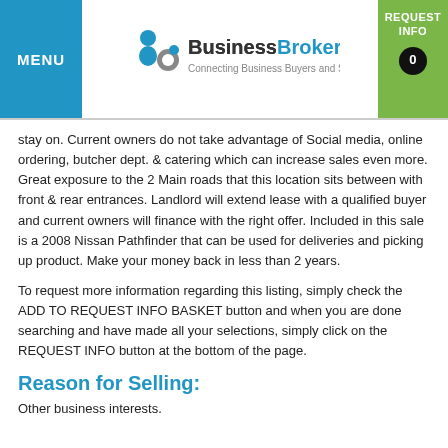MENU | BusinessBroker.net Connecting Business Buyers and Sellers | REQUEST INFO 0
stay on. Current owners do not take advantage of Social media, online ordering, butcher dept. & catering which can increase sales even more. Great exposure to the 2 Main roads that this location sits between with front & rear entrances. Landlord will extend lease with a qualified buyer and current owners will finance with the right offer. Included in this sale is a 2008 Nissan Pathfinder that can be used for deliveries and picking up product. Make your money back in less than 2 years.
To request more information regarding this listing, simply check the ADD TO REQUEST INFO BASKET button and when you are done searching and have made all your selections, simply click on the REQUEST INFO button at the bottom of the page.
Reason for Selling:
Other business interests.